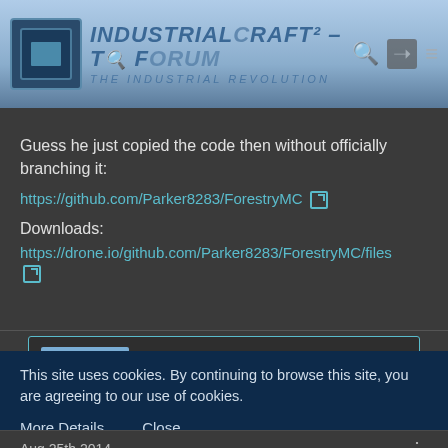IndustrialCraft² - The Forum - The Industrial Revolution
Guess he just copied the code then without officially branching it:
https://github.com/Parker8283/ForestryMC
Downloads:
https://drone.io/github.com/Parker8283/ForestryMC/files
master801
Copper Miner
Aug 25th 2014
This site uses cookies. By continuing to browse this site, you are agreeing to our use of cookies.
More Details   Close